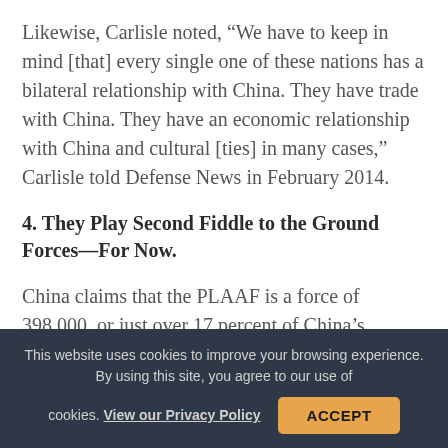Likewise, Carlisle noted, “We have to keep in mind [that] every single one of these nations has a bilateral relationship with China. They have trade with China. They have an economic relationship with China and cultural [ties] in many cases,” Carlisle told Defense News in February 2014.
4. They Play Second Fiddle to the Ground Forces—For Now.
China claims that the PLAAF is a force of 398,000, or just over 17 percent of China’s
This website uses cookies to improve your browsing experience. By using this site, you agree to our use of cookies. View our Privacy Policy